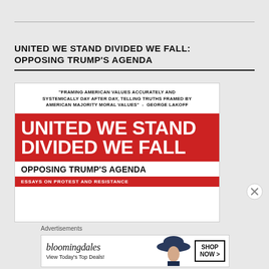UNITED WE STAND DIVIDED WE FALL: OPPOSING TRUMP'S AGENDA
[Figure (illustration): Book cover for 'United We Stand Divided We Fall: Opposing Trump's Agenda'. Top white section has a quote: 'Framing American values accurately and systemically day after day, telling truths framed by American majority moral values' - George Lakoff. Middle red section has large white bold text: 'UNITED WE STAND DIVIDED WE FALL'. Bottom white section reads 'OPPOSING TRUMP'S AGENDA'. Bottom red strip shows partial text 'ESSAYS ON PROTEST AND RESISTANCE'.]
Advertisements
[Figure (screenshot): Bloomingdale's advertisement banner. Shows Bloomingdales logo, 'View Today's Top Deals!' text, image of woman in hat, and 'SHOP NOW >' button.]